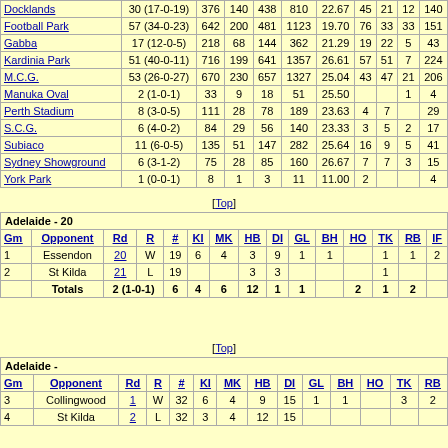| Ground | Games | KI | MK | HB | DI | GL | BH | HO | TK | RB | IF |
| --- | --- | --- | --- | --- | --- | --- | --- | --- | --- | --- | --- |
| Docklands | 30 (17-0-19) | 376 | 140 | 438 | 810 | 22.67 | 45 | 21 | 12 | 140 |  |
| Football Park | 57 (34-0-23) | 642 | 200 | 481 | 1123 | 19.70 | 76 | 33 | 33 | 151 |  |
| Gabba | 17 (12-0-5) | 218 | 68 | 144 | 362 | 21.29 | 19 | 22 | 5 | 43 |  |
| Kardinia Park | 51 (40-0-11) | 716 | 199 | 641 | 1357 | 26.61 | 57 | 51 | 7 | 224 |  |
| M.C.G. | 53 (26-0-27) | 670 | 230 | 657 | 1327 | 25.04 | 43 | 47 | 21 | 206 |  |
| Manuka Oval | 2 (1-0-1) | 33 | 9 | 18 | 51 | 25.50 |  |  | 1 | 4 |  |
| Perth Stadium | 8 (3-0-5) | 111 | 28 | 78 | 189 | 23.63 | 4 | 7 |  | 29 |  |
| S.C.G. | 6 (4-0-2) | 84 | 29 | 56 | 140 | 23.33 | 3 | 5 | 2 | 17 |  |
| Subiaco | 11 (6-0-5) | 135 | 51 | 147 | 282 | 25.64 | 16 | 9 | 5 | 41 |  |
| Sydney Showground | 6 (3-1-2) | 75 | 28 | 85 | 160 | 26.67 | 7 | 7 | 3 | 15 |  |
| York Park | 1 (0-0-1) | 8 | 1 | 3 | 11 | 11.00 | 2 |  |  | 4 |  |
[Top]
| Gm | Opponent | Rd | R | # | KI | MK | HB | DI | GL | BH | HO | TK | RB | IF |
| --- | --- | --- | --- | --- | --- | --- | --- | --- | --- | --- | --- | --- | --- | --- |
| 1 | Essendon | 20 | W | 19 | 6 | 4 | 3 | 9 | 1 | 1 |  | 1 | 1 | 2 |
| 2 | St Kilda | 21 | L | 19 |  |  | 3 | 3 |  |  |  | 1 |  |  |
|  | Totals | 2 (1-0-1) |  | 6 | 4 | 6 | 12 | 1 | 1 |  | 2 | 1 | 2 |
[Top]
| Gm | Opponent | Rd | R | # | KI | MK | HB | DI | GL | BH | HO | TK | RB |
| --- | --- | --- | --- | --- | --- | --- | --- | --- | --- | --- | --- | --- | --- |
| 3 | Collingwood | 1 | W | 32 | 6 | 4 | 9 | 15 | 1 | 1 |  | 3 | 2 |
| 4 | St Kilda | 2 | L | 32 | 3 | 4 | 12 | 15 |  |  |  |  |  |